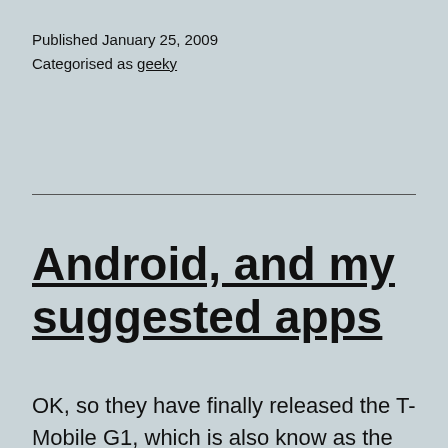Published January 25, 2009
Categorised as geeky
Android, and my suggested apps
OK, so they have finally released the T-Mobile G1, which is also know as the Google